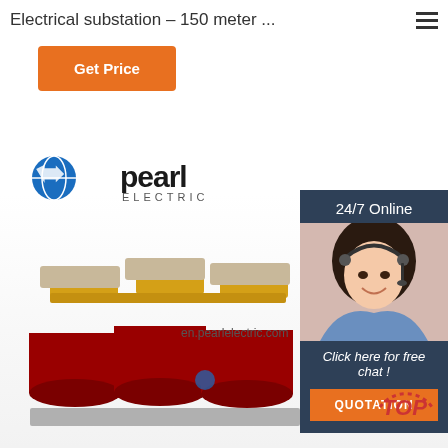Electrical substation – 150 meter ...
Get Price
[Figure (logo): Pearl Electric logo with blue globe icon and company name]
[Figure (photo): Three-phase dry-type electrical transformer with red cylindrical coils and yellow bus bars on metal base, en.pearlelectric.com watermark]
[Figure (photo): Customer service agent woman with headset smiling, labeled 24/7 Online]
24/7 Online
Click here for free chat !
QUOTATION
TOP